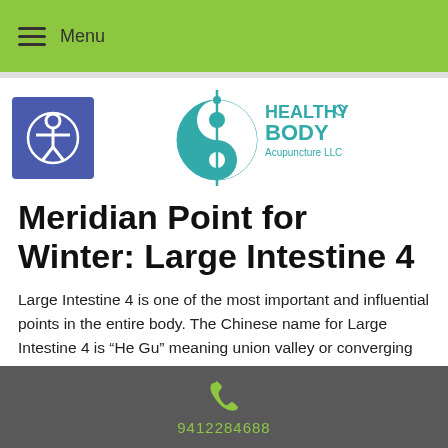Menu
[Figure (logo): Healthy Body Acupuncture LLC logo with yin-yang symbol and acupuncture needle]
Meridian Point for Winter: Large Intestine 4
Large Intestine 4 is one of the most important and influential points in the entire body. The Chinese name for Large Intestine 4 is “He Gu” meaning union valley or converging valley. The point is located on the hand in the web between the thumb and index finger, also described as the depression where the index finger and thumb bones part. This
9412284688